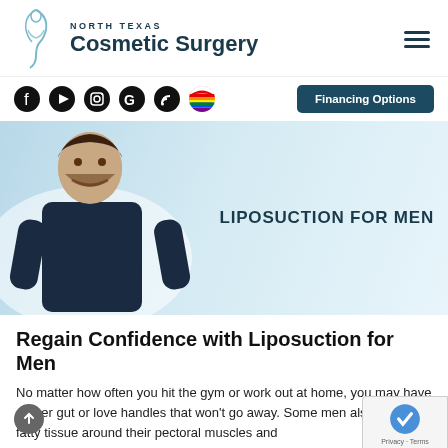[Figure (logo): North Texas Cosmetic Surgery logo with stylized body outline and text]
[Figure (infographic): Navigation bar with social media icons (Facebook, YouTube, Instagram, Google, RSS, Pride flag) and a Financing Options button]
[Figure (photo): Hero banner with a smiling man with crossed arms on a light blue gradient background, with text LIPOSUCTION FOR MEN]
Regain Confidence with Liposuction for Men
No matter how often you hit the gym or work out at home, you may have a beer gut or love handles that won't go away. Some men also collect fatty tissue around their pectoral muscles and